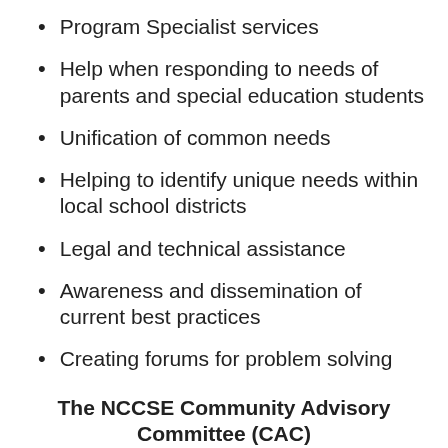Program Specialist services
Help when responding to needs of parents and special education students
Unification of common needs
Helping to identify unique needs within local school districts
Legal and technical assistance
Awareness and dissemination of current best practices
Creating forums for problem solving
The NCCSE Community Advisory Committee (CAC)